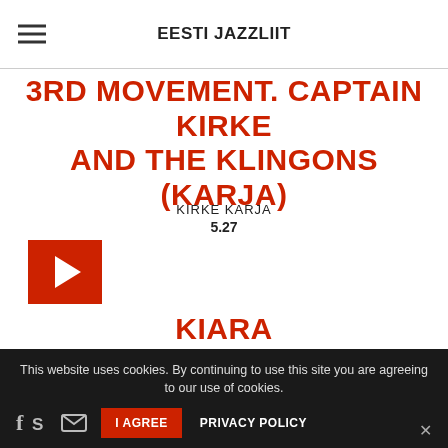EESTI JAZZLIIT
3RD MOVEMENT. CAPTAIN KIRKE AND THE KLINGONS (KARJA)
KIRKE KARJA
5.27
[Figure (other): Red play button square icon]
KIARA (TAMM/VOORAND/ESTONIAN VOICES)
ESTONIAN VOICES
This website uses cookies. By continuing to use this site you are agreeing to our use of cookies.
I AGREE   PRIVACY POLICY